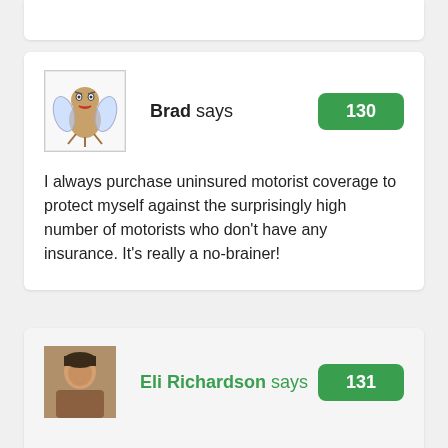[Figure (illustration): Top portion of a white comment card, cropped at top of page]
[Figure (illustration): Cartoon avatar of a winged creature/bug character for user Brad]
Brad says
130
I always purchase uninsured motorist coverage to protect myself against the surprisingly high number of motorists who don't have any insurance. It's really a no-brainer!
[Figure (photo): Photo avatar of Eli Richardson, a man]
Eli Richardson says
131